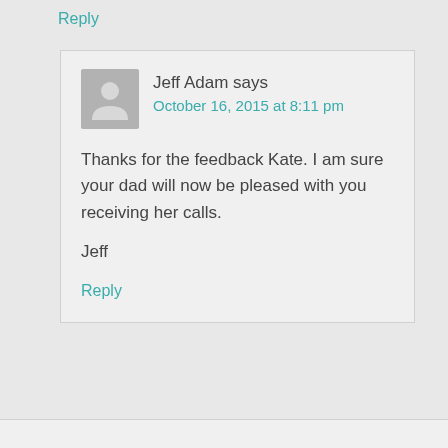Reply
Jeff Adam says
October 16, 2015 at 8:11 pm
Thanks for the feedback Kate. I am sure your dad will now be pleased with you receiving her calls.
Jeff
Reply